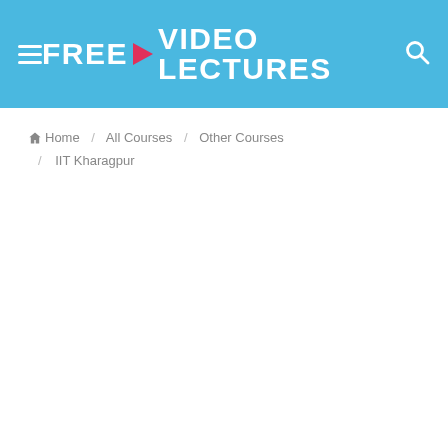FREE VIDEO LECTURES
Home / All Courses / Other Courses / IIT Kharagpur